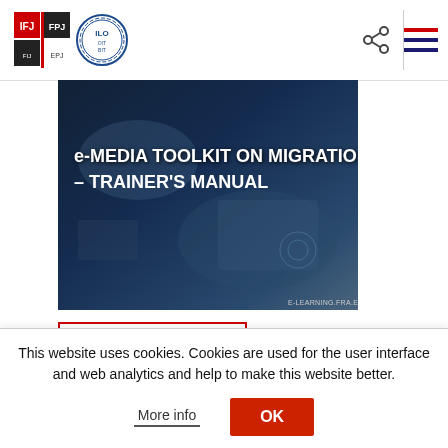[Figure (logo): IFJ (International Federation of Journalists) logo and ILO (International Labour Organization) logo side by side in header]
[Figure (photo): e-Media Toolkit on Migration – Trainer's Manual book cover with white text on blue/dark background, showing desk and media tools]
CAJAS DE HERRAMIENTAS
e-Media Toolkit oon Migration Trainer's Manual
This Trainer's Manual provides you with a
This website uses cookies. Cookies are used for the user interface and web analytics and help to make this website better.
More info
OK